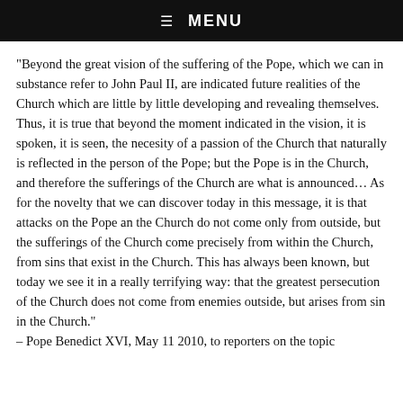☰  MENU
“Beyond the great vision of the suffering of the Pope, which we can in substance refer to John Paul II, are indicated future realities of the Church which are little by little developing and revealing themselves. Thus, it is true that beyond the moment indicated in the vision, it is spoken, it is seen, the necesity of a passion of the Church that naturally is reflected in the person of the Pope; but the Pope is in the Church, and therefore the sufferings of the Church are what is announced… As for the novelty that we can discover today in this message, it is that attacks on the Pope an the Church do not come only from outside, but the sufferings of the Church come precisely from within the Church, from sins that exist in the Church. This has always been known, but today we see it in a really terrifying way: that the greatest persecution of the Church does not come from enemies outside, but arises from sin in the Church.” – Pope Benedict XVI, May 11 2010, to reporters on the topic